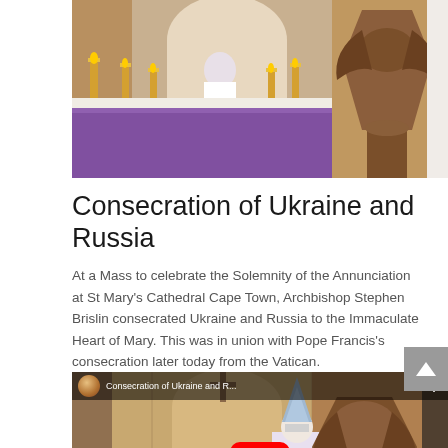[Figure (photo): Church interior photo showing an altar with purple cloth, golden candles, a wooden eagle lectern, and a person in white vestments at a Mass ceremony.]
Consecration of Ukraine and Russia
At a Mass to celebrate the Solemnity of the Annunciation at St Mary's Cathedral Cape Town, Archbishop Stephen Brislin consecrated Ukraine and Russia to the Immaculate Heart of Mary. This was in union with Pope Francis's consecration later today from the Vatican.
[Figure (screenshot): YouTube video thumbnail showing 'Consecration of Ukraine and R...' with a YouTube play button overlay. The thumbnail shows a church interior with a bishop in white vestments and blue mitre at a lectern, an eagle lectern in the foreground, and another priest seated. A red YouTube play button is centered on the thumbnail.]